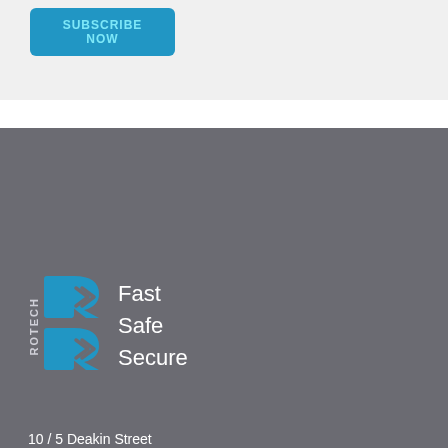[Figure (illustration): SUBSCRIBE NOW button in blue with cyan text on a light grey background]
[Figure (logo): Rotech logo: vertical ROTECH text, blue R-arrows icon, and 'Fast Safe Secure' text in white]
10 / 5 Deakin Street
Brendale QLD 4500
Australlia
+61 (07) 3205 1123
[Figure (illustration): LinkedIn circular icon (white circle with blue 'in')]
[Figure (illustration): Back to top button: mauve circle with upward chevron and 'BACK TO TOP' label below]
SITE MAP
Home